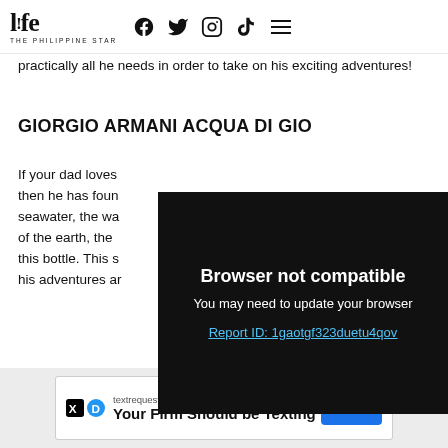life THE PHILIPPINE STAR — navigation icons: Facebook, Twitter, Instagram, TikTok, Menu
practically all he needs in order to take on his exciting adventures!
GIORGIO ARMANI ACQUA DI GIO
If your dad loves [obscured by overlay] then he has found [obscured by overlay] seawater, the wa[obscured by overlay] of the earth, the [obscured by overlay] this bottle. This s[obscured by overlay] his adventures and[obscured by overlay]
[Figure (screenshot): Browser not compatible overlay with dark background. Text reads: 'Browser not compatible', 'You may need to update your browser', 'Report ID: 1gaotgf323duetu4qov']
Available by fourth week of Nover ≡
[Figure (other): Ad banner: textrequest.com — Your Firm Should be Texting — OPEN button]